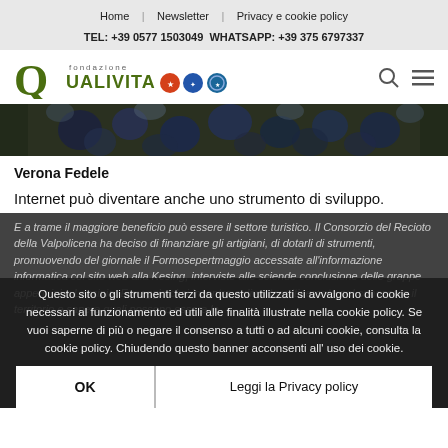Home | Newsletter | Privacy e cookie policy
TEL: +39 0577 1503049 WHATSAPP: +39 375 6797337
[Figure (logo): Fondazione Qualivita logo with Q icon and colored certification badges]
[Figure (photo): Close-up photo of dark blue/purple grapes]
Verona Fedele
Internet può diventare anche uno strumento di sviluppo.
E a trame il maggiore beneficio può essere il settore turistico. Il Consorzio del Recioto della Valpolicena ha deciso di finanziare gli artigiani, di dotarli di strumenti, promuovendo del giornale il Formosepertmaggio accessate all'informazione informatica col sito web alla Kesing, interviste alle sciende conclusione delle grappe appennini e Lessinia. E maggio ci si incontra a diventare itinerante nel conoscere il territorio e sapere quali possono essere le
Questo sito o gli strumenti terzi da questo utilizzati si avvalgono di cookie necessari al funzionamento ed utili alle finalità illustrate nella cookie policy. Se vuoi saperne di più o negare il consenso a tutti o ad alcuni cookie, consulta la cookie policy. Chiudendo questo banner acconsenti all'uso dei cookie.
OK
Leggi la Privacy policy